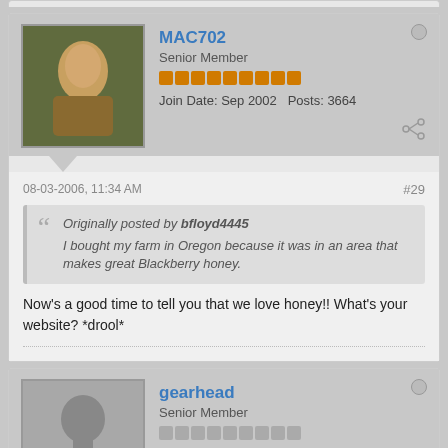MAC702
Senior Member
Join Date: Sep 2002   Posts: 3664
08-03-2006, 11:34 AM
#29
Originally posted by bfloyd4445
I bought my farm in Oregon because it was in an area that makes great Blackberry honey.
Now's a good time to tell you that we love honey!! What's your website? *drool*
gearhead
Senior Member
Join Date: May 2006   Posts: 84
08-03-2006, 03:03 PM
#30